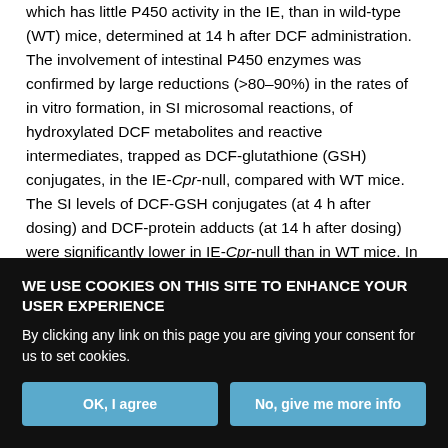which has little P450 activity in the IE, than in wild-type (WT) mice, determined at 14 h after DCF administration. The involvement of intestinal P450 enzymes was confirmed by large reductions (>80–90%) in the rates of in vitro formation, in SI microsomal reactions, of hydroxylated DCF metabolites and reactive intermediates, trapped as DCF-glutathione (GSH) conjugates, in the IE-Cpr-null, compared with WT mice. The SI levels of DCF-GSH conjugates (at 4 h after dosing) and DCF-protein adducts (at 14 h after dosing) were significantly lower in IE-Cpr-null than in WT mice. In additional experiments, we found that pretreatment of mice with grapefruit juice, which is known to inhibit SI P450 activity, ameliorated DCF-induced intestinal toxicity in WT mice. Our results not only strongly
WE USE COOKIES ON THIS SITE TO ENHANCE YOUR USER EXPERIENCE
By clicking any link on this page you are giving your consent for us to set cookies.